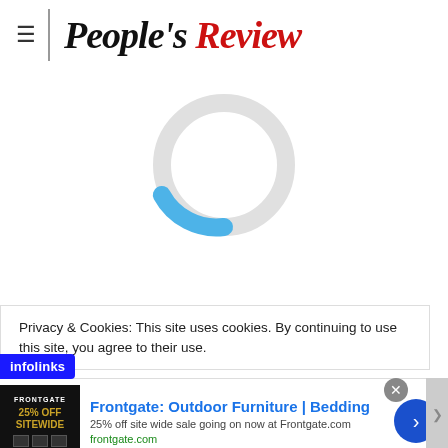[Figure (logo): People's Review newspaper logo with hamburger menu icon and vertical divider. 'People's' in black italic serif, 'Review' in red italic serif.]
[Figure (other): Loading spinner: a large circle outline in light gray with a blue arc segment at the bottom-right, indicating a page loading state.]
Privacy & Cookies: This site uses cookies. By continuing to use this site, you agree to their use.
[Figure (other): Infolinks advertisement badge in blue, followed by an ad for Frontgate: Outdoor Furniture | Bedding. '25% off site wide sale going on now at Frontgate.com'. frontgate.com. Has a thumbnail image showing '25% OFF SITEWIDE' and a blue circular arrow button.]